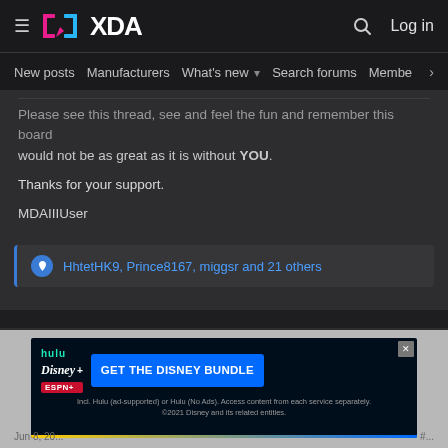XDA Forums — hamburger menu, logo, search, Log in
New posts | Manufacturers | What's new | Search forums | Members >
Please see this thread, see and feel the fun and remember this board would not be as great as it is without YOU.
Thanks for your support.
MDAIIIUser
HhtetHK9, Prince8167, miggsr and 21 others
vijay555
Retired Moderator
[Figure (screenshot): Disney Bundle advertisement: hulu, Disney+, ESPN+. GET THE DISNEY BUNDLE. Incl. Hulu (ad-supported) or Hulu (No Ads). Access content from each service separately. ©2021 Disney and its related entities.]